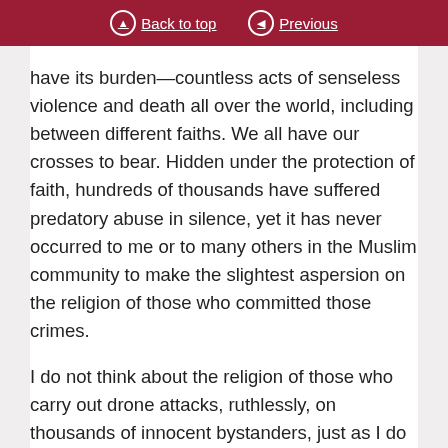Back to top | Previous
have its burden—countless acts of senseless violence and death all over the world, including between different faiths. We all have our crosses to bear. Hidden under the protection of faith, hundreds of thousands have suffered predatory abuse in silence, yet it has never occurred to me or to many others in the Muslim community to make the slightest aspersion on the religion of those who committed those crimes.
I do not think about the religion of those who carry out drone attacks, ruthlessly, on thousands of innocent bystanders, just as I do not consider those who tried to kill Malala Yousafzai, Kainat Riaz, Shazia Ramzan and many other girls and women—Muslims. We must call acts of brutal violence and